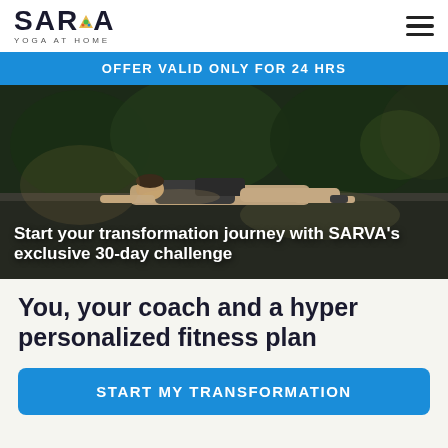SARVA YOGA AT HOME
OFFER VALID ONLY FOR 24 HRS
[Figure (photo): Person performing a yoga plank/cobra pose outdoors on a stone surface surrounded by greenery, photographed in low natural light]
Start your transformation journey with SARVA’s exclusive 30-day challenge
You, your coach and a hyper personalized fitness plan
START MY TRANSFORMATION